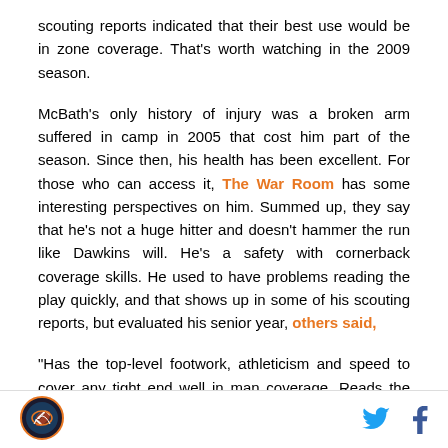scouting reports indicated that their best use would be in zone coverage. That's worth watching in the 2009 season.
McBath's only history of injury was a broken arm suffered in camp in 2005 that cost him part of the season. Since then, his health has been excellent. For those who can access it, The War Room has some interesting perspectives on him. Summed up, they say that he's not a huge hitter and doesn't hammer the run like Dawkins will. He's a safety with cornerback coverage skills. He used to have problems reading the play quickly, and that shows up in some of his scouting reports, but evaluated his senior year, others said,
"Has the top-level footwork, athleticism and speed to cover any tight end well in man coverage. Reads the quarterback fast in deep coverage and consistently reacts quickly. Plants, drives and closes fast on passes in front of
Logo | Twitter | Facebook